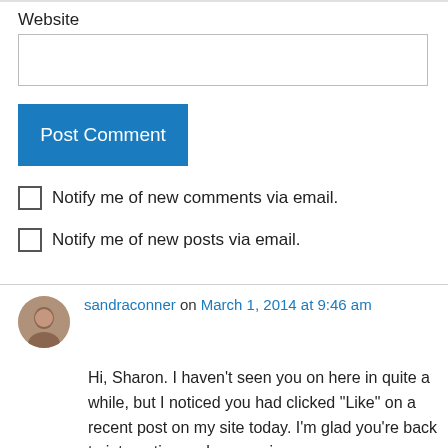Website
Post Comment
Notify me of new comments via email.
Notify me of new posts via email.
sandraconner on March 1, 2014 at 9:46 am
Hi, Sharon. I haven't seen you on here in quite a while, but I noticed you had clicked “Like” on a recent post on my site today. I’m glad you’re back to interacting on here again.